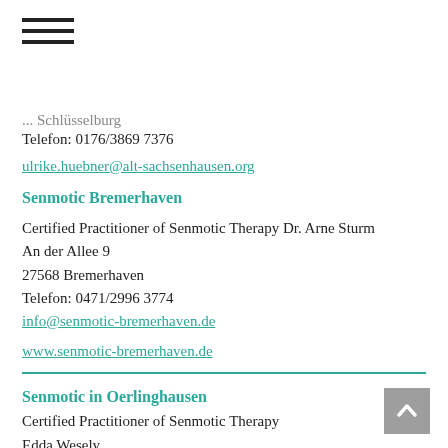[Figure (other): Hamburger menu icon (three horizontal lines)]
... Schlüsselburg
Telefon: 0176/3869 7376
ulrike.huebner@alt-sachsenhausen.org
Senmotic Bremerhaven
Certified Practitioner of Senmotic Therapy Dr. Arne Sturm
An der Allee 9
27568 Bremerhaven
Telefon: 0471/2996 3774
info@senmotic-bremerhaven.de
www.senmotic-bremerhaven.de
Senmotic in Oerlinghausen
Certified Practitioner of Senmotic Therapy
Edda Wesely
Alberst-Schweitzer-Straße 25
33812 Oerlinghausen